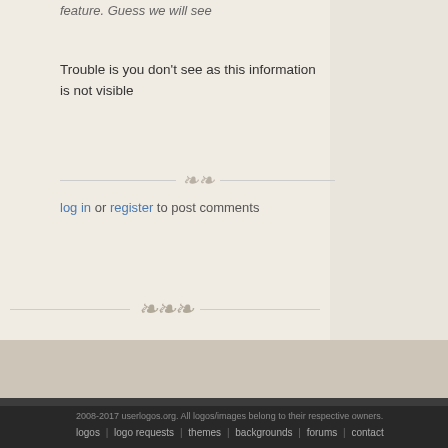feature. Guess we will see
Trouble is you don't see as this information is not visible
log in or register to post comments
2008-2017 userlogos.org. All logos/images belong to their respective owners.
logos | logo requests | themes | backgrounds | forums | contact